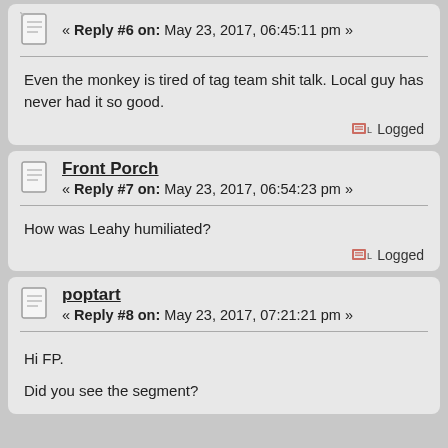« Reply #6 on: May 23, 2017, 06:45:11 pm »
Even the monkey is tired of tag team shit talk. Local guy has never had it so good.
Logged
Front Porch
« Reply #7 on: May 23, 2017, 06:54:23 pm »
How was Leahy humiliated?
Logged
poptart
« Reply #8 on: May 23, 2017, 07:21:21 pm »
Hi FP.
Did you see the segment?